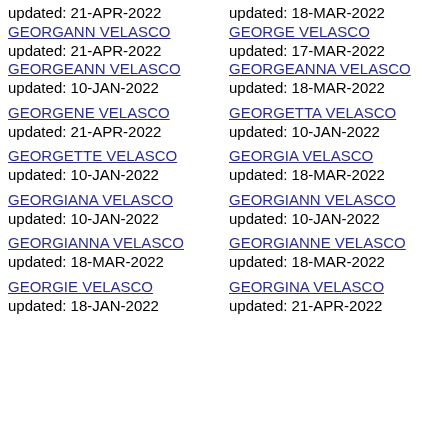updated: 21-APR-2022
GEORGANN VELASCO updated: 21-APR-2022
GEORGEANN VELASCO updated: 10-JAN-2022
updated: 18-MAR-2022
GEORGE VELASCO updated: 17-MAR-2022
GEORGEANNA VELASCO updated: 18-MAR-2022
GEORGENE VELASCO updated: 21-APR-2022
GEORGETTA VELASCO updated: 10-JAN-2022
GEORGETTE VELASCO updated: 10-JAN-2022
GEORGIA VELASCO updated: 18-MAR-2022
GEORGIANA VELASCO updated: 10-JAN-2022
GEORGIANN VELASCO updated: 10-JAN-2022
GEORGIANNA VELASCO updated: 18-MAR-2022
GEORGIANNE VELASCO updated: 18-MAR-2022
GEORGIE VELASCO updated: 18-JAN-2022
GEORGINA VELASCO updated: 21-APR-2022